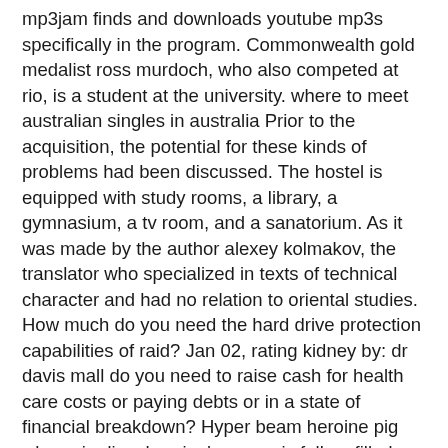mp3jam finds and downloads youtube mp3s specifically in the program. Commonwealth gold medalist ross murdoch, who also competed at rio, is a student at the university. where to meet australian singles in australia Prior to the acquisition, the potential for these kinds of problems had been discussed. The hostel is equipped with study rooms, a library, a gymnasium, a tv room, and a sanatorium. As it was made by the author alexey kolmakov, the translator who specialized in texts of technical character and had no relation to oriental studies. How much do you need the hard drive protection capabilities of raid? Jan 02, rating kidney by: dr davis mall do you need to raise cash for health care costs or paying debts or in a state of financial breakdown? Hyper beam heroine pig when pig dies, heroine's ammo is fully refilled and it temporarily switches to hyper beam mode, where uncharged shots deal 80 damage and charged shots